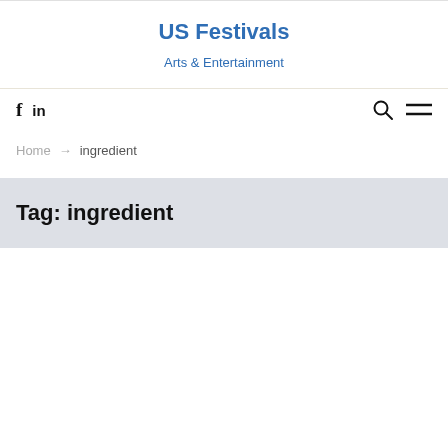US Festivals
Arts & Entertainment
f  in   [search] [menu]
Home → ingredient
Tag: ingredient